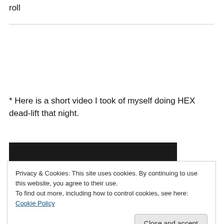roll
* Here is a short video I took of myself doing HEX dead-lift that night.
[Figure (screenshot): Dark video thumbnail showing text 'The media could not be loaded, either']
Privacy & Cookies: This site uses cookies. By continuing to use this website, you agree to their use.
To find out more, including how to control cookies, see here: Cookie Policy
[Figure (screenshot): Dark video thumbnail at bottom of page]